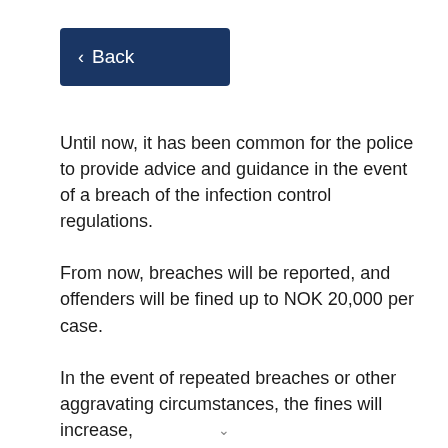< Back
Until now, it has been common for the police to provide advice and guidance in the event of a breach of the infection control regulations.
From now, breaches will be reported, and offenders will be fined up to NOK 20,000 per case.
In the event of repeated breaches or other aggravating circumstances, the fines will increase,